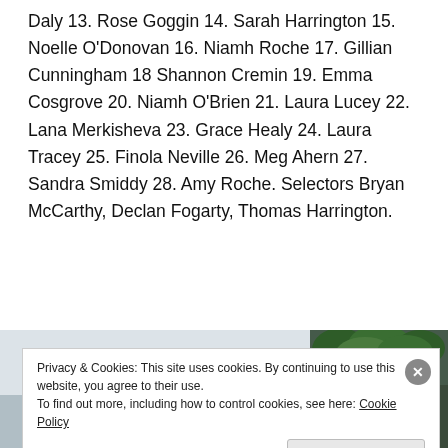Daly 13. Rose Goggin 14. Sarah Harrington 15. Noelle O'Donovan 16. Niamh Roche 17. Gillian Cunningham 18 Shannon Cremin 19. Emma Cosgrove 20. Niamh O'Brien 21. Laura Lucey 22. Lana Merkisheva 23. Grace Healy 24. Laura Tracey 25. Finola Neville 26. Meg Ahern 27. Sandra Smiddy 28. Amy Roche. Selectors Bryan McCarthy, Declan Fogarty, Thomas Harrington.
[Figure (photo): Two partial photos visible at the bottom of the page behind a cookie consent banner. Left photo appears to be a light-colored outdoor scene. Right photo shows trees and green foliage.]
Privacy & Cookies: This site uses cookies. By continuing to use this website, you agree to their use.
To find out more, including how to control cookies, see here: Cookie Policy
Close and accept